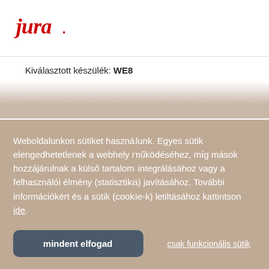[Figure (logo): Jura brand logo in red italic script with a period/dot after the word]
Kiválasztott készülék: WE8
Weboldalunkon sütiket használunk. Egyes sütik elengedhetetlenek a webhely működéséhez, míg mások hozzájárulnak a külső tartalom integrálásához vagy a felhasználói élmény (statisztika) javításához. További információkért és a sütik (cookie-k) letiltásához kattintson ide.
mindent elfogad
csak funkcionális sütik